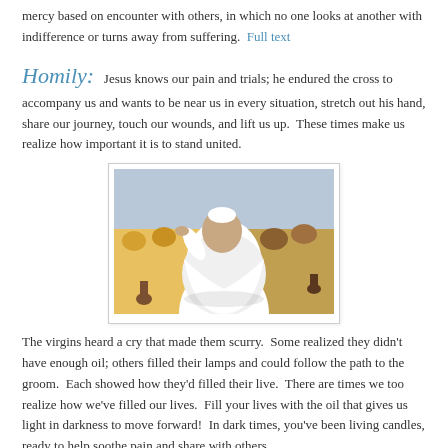mercy based on encounter with others, in which no one looks at another with indifference or turns away from suffering.  Full text
Homily:  Jesus knows our pain and trials; he endured the cross to accompany us and wants to be near us in every situation, stretch out his hand, share our journey, touch our wounds, and lift us up.  These times make us realize how important it is to stand united.
[Figure (photo): Photo of Pope Francis in white vestments, gesturing with raised hand toward a crowd of people]
The virgins heard a cry that made them scurry.  Some realized they didn't have enough oil; others filled their lamps and could follow the path to the groom.  Each showed how they'd filled their live.  There are times we too realize how we've filled our lives.  Fill your lives with the oil that gives us light in darkness to move forward!  In dark times, you've been living candles, ready to help soothe pain and share with others.
The virgins without enough oil went to buy some, realizing they lacked what they needed to find the path to joy.  They went off by themselves and so missed out.  Some things can't be improvised, let alone bought.  When a community comes together in the face of difficulty, they keep hope alive and give witness